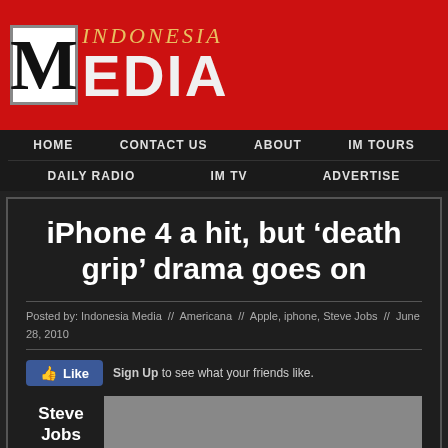[Figure (logo): Indonesia Media logo with large M in a box and red background]
HOME  CONTACT US  ABOUT  IM TOURS  DAILY RADIO  IM TV  ADVERTISE
iPhone 4 a hit, but ‘death grip’ drama goes on
Posted by: Indonesia Media // Americana // Apple, iphone, Steve Jobs // June 28, 2010
Like  Sign Up to see what your friends like.
Steve Jobs